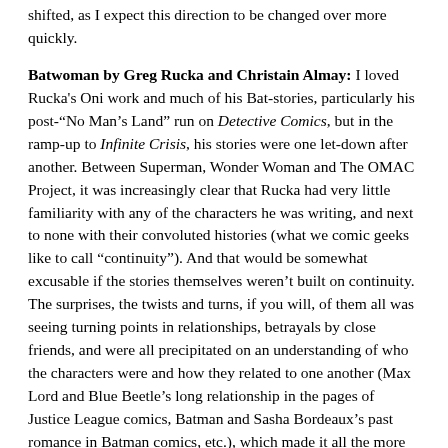shifted, as I expect this direction to be changed over more quickly.
Batwoman by Greg Rucka and Christain Almay: I loved Rucka's Oni work and much of his Bat-stories, particularly his post-"No Man's Land" run on Detective Comics, but in the ramp-up to Infinite Crisis, his stories were one let-down after another. Between Superman, Wonder Woman and The OMAC Project, it was increasingly clear that Rucka had very little familiarity with any of the characters he was writing, and next to none with their convoluted histories (what we comic geeks like to call "continuity"). And that would be somewhat excusable if the stories themselves weren't built on continuity. The surprises, the twists and turns, if you will, of them all was seeing turning points in relationships, betrayals by close friends, and were all precipitated on an understanding of who the characters were and how they related to one another (Max Lord and Blue Beetle's long relationship in the pages of Justice League comics, Batman and Sasha Bordeaux's past romance in Batman comics, etc.), which made it all the more infuriating when about 50-percent of that was wrong. For a perfect example, see the last issue of the last volume of Wonder Woman, the whole